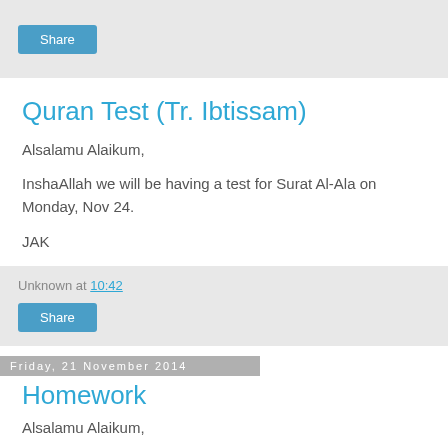Share
Quran Test (Tr. Ibtissam)
Alsalamu Alaikum,
InshaAllah we will be having a test for Surat Al-Ala on Monday, Nov 24.
JAK
Unknown at 10:42
Share
Friday, 21 November 2014
Homework
Alsalamu Alaikum,